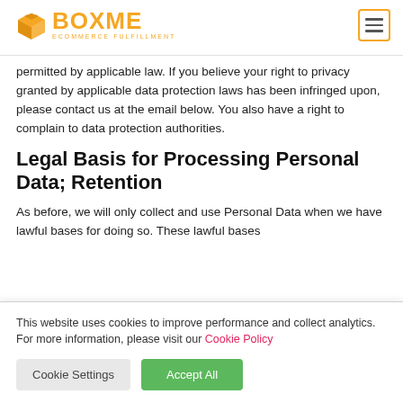BOXME ECOMMERCE FULFILLMENT
permitted by applicable law. If you believe your right to privacy granted by applicable data protection laws has been infringed upon, please contact us at the email below. You also have a right to complain to data protection authorities.
Legal Basis for Processing Personal Data; Retention
As before, we will only collect and use Personal Data when we have lawful bases for doing so. These lawful bases
This website uses cookies to improve performance and collect analytics. For more information, please visit our Cookie Policy
Cookie Settings | Accept All